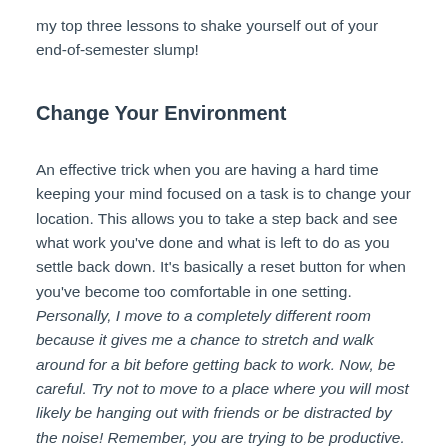my top three lessons to shake yourself out of your end-of-semester slump!
Change Your Environment
An effective trick when you are having a hard time keeping your mind focused on a task is to change your location. This allows you to take a step back and see what work you've done and what is left to do as you settle back down. It's basically a reset button for when you've become too comfortable in one setting. Personally, I move to a completely different room because it gives me a chance to stretch and walk around for a bit before getting back to work. Now, be careful. Try not to move to a place where you will most likely be hanging out with friends or be distracted by the noise! Remember, you are trying to be productive.